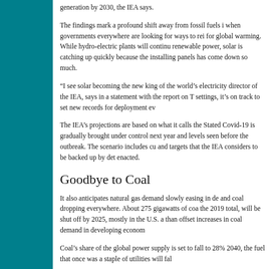generation by 2030, the IEA says.
The findings mark a profound shift away from fossil fuels in when governments everywhere are looking for ways to rei for global warming. While hydro-electric plants will continu renewable power, solar is catching up quickly because the installing panels has come down so much.
“I see solar becoming the new king of the world’s electricity director of the IEA, says in a statement with the report on T settings, it’s on track to set new records for deployment ev
The IEA’s projections are based on what it calls the Stated Covid-19 is gradually brought under control next year and levels seen before the outbreak. The scenario includes cu and targets that the IEA considers to be backed up by det enacted.
Goodbye to Coal
It also anticipates natural gas demand slowly easing in de and coal dropping everywhere. About 275 gigawatts of coa the 2019 total, will be shut off by 2025, mostly in the U.S. a than offset increases in coal demand in developing econom
Coal’s share of the global power supply is set to fall to 28% 2040, the fuel that once was a staple of utilities will fal